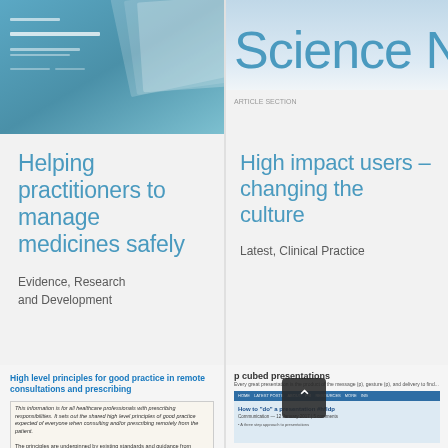[Figure (photo): Book cover with teal/blue gradient background, small white text lines, appears to be a healthcare or research publication]
Helping practitioners to manage medicines safely
Evidence, Research and Development
[Figure (screenshot): Science N... text in blue on light background, partial view of a Science publication header]
High impact users – changing the culture
Latest, Clinical Practice
High level principles for good practice in remote consultations and prescribing
[Figure (screenshot): Document excerpt about high level principles for healthcare professionals with prescribing responsibilities]
p cubed presentations
[Figure (screenshot): Screenshot of p cubed presentations website showing 'How to "do" a presentation #hfldp' webinar page with dark navigation bar and scroll-to-top button]